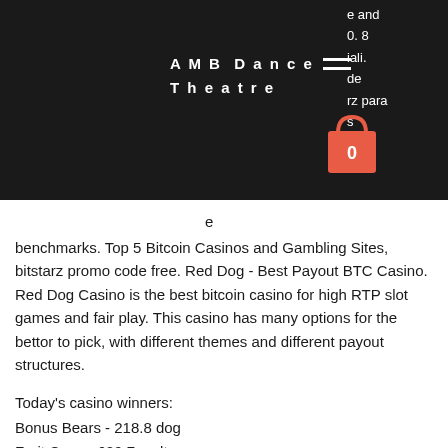AMB Dance Theatre
[Figure (illustration): Shopping cart icon with number 0, red bag shape]
benchmarks. Top 5 Bitcoin Casinos and Gambling Sites, bitstarz promo code free. Red Dog - Best Payout BTC Casino. Red Dog Casino is the best bitcoin casino for high RTP slot games and fair play. This casino has many options for the bettor to pick, with different themes and different payout structures.
Today's casino winners:
Bonus Bears - 218.8 dog
Fruit Case - 629.7 usdt
Million Cents - 22.8 dog
Secrets of Christmas - 293.1 dog